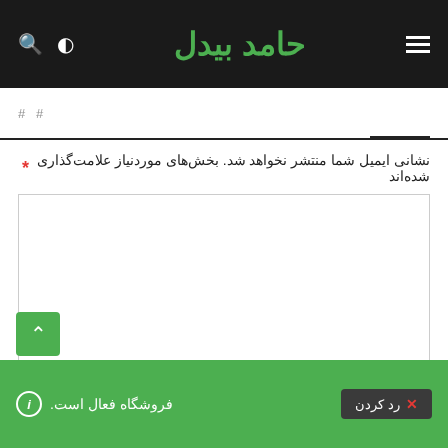حامد بیدل
نشانی ایمیل شما منتشر نخواهد شد. بخش‌های موردنیاز علامت‌گذاری شده‌اند *
نام *
ℹ فروشگاه فعال است. ✕ رد کردن